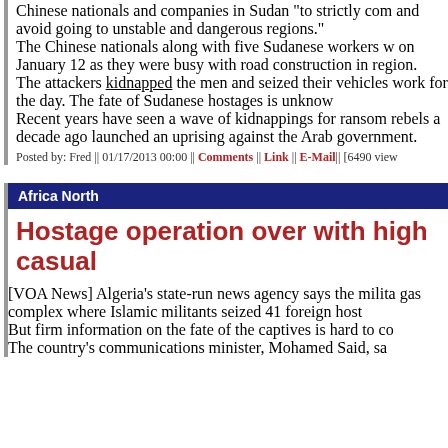Chinese nationals and companies in Sudan "to strictly com and avoid going to unstable and dangerous regions."
The Chinese nationals along with five Sudanese workers w on January 12 as they were busy with road construction in region.
The attackers kidnapped the men and seized their vehicles work for the day. The fate of Sudanese hostages is unknow
Recent years have seen a wave of kidnappings for ransom rebels a decade ago launched an uprising against the Arab government.
Posted by: Fred || 01/17/2013 00:00 || Comments || Link || E-Mail|| [6490 view
Africa North
Hostage operation over with high casual
[VOA News] Algeria's state-run news agency says the milita gas complex where Islamic militants seized 41 foreign host
But firm information on the fate of the captives is hard to co
The country's communications minister, Mohamed Said, sa